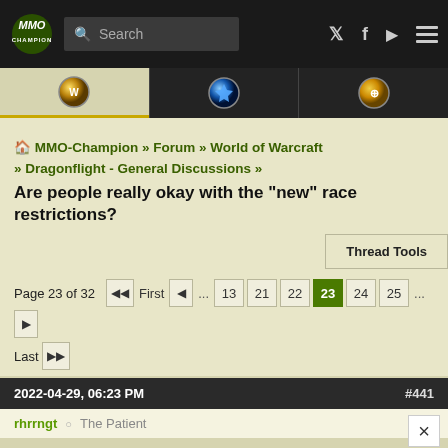MMO-Champion — Search — Twitter — Facebook — YouTube — Menu
[Figure (logo): MMO-Champion logo with WoW, Heroes of the Storm, and Overwatch game tabs]
MMO-Champion » Forum » World of Warcraft » Dragonflight - General Discussions » Are people really okay with the "new" race restrictions?
Are people really okay with the "new" race restrictions?
Thread Tools
Page 23 of 32  First ... 13 21 22 23 24 25 ... Last
2022-04-29, 06:23 PM  #441
rhrrngt  The Patient